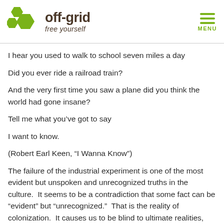off-grid free yourself
I hear you used to walk to school seven miles a day
Did you ever ride a railroad train?
And the very first time you saw a plane did you think the world had gone insane?
Tell me what you’ve got to say
I want to know.
(Robert Earl Keen, “I Wanna Know”)
The failure of the industrial experiment is one of the most evident but unspoken and unrecognized truths in the culture.  It seems to be a contradiction that some fact can be “evident” but “unrecognized.”  That is the reality of colonization.  It causes us to be blind to ultimate realities, and to deny facts in favor of conditioning.  The truth is right in front of anyone who cares to look (it is evident), but the brain that controls the eyes and the thoughts that process the information from the eyes is a tool that